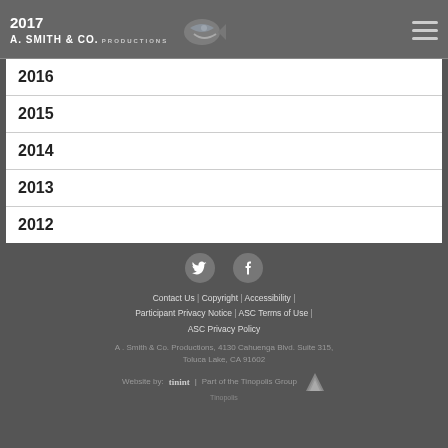2017 A. Smith & Co. Productions
2016
2015
2014
2013
2012
Contact Us | Copyright | Accessibility | Participant Privacy Notice | ASC Terms of Use | ASC Privacy Policy
A. Smith & Co. Productions, 4130 Cahuenga Blvd. Suite 315, Toluca Lake, CA 91602
Website by: tinint | Part of the Tinopolis Group